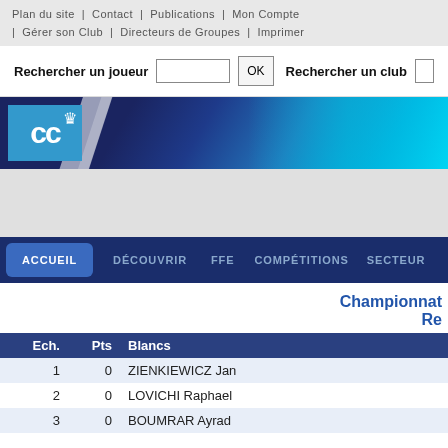Plan du site | Contact | Publications | Mon Compte | Gérer son Club | Directeurs de Groupes | Imprimer
Rechercher un joueur  [input]  OK  Rechercher un club  [input]
[Figure (logo): CC chess club logo banner with blue gradient background and white cc text with crown icon]
[Figure (other): Gray advertisement area]
ACCUEIL  DÉCOUVRIR  FFE  COMPÉTITIONS  SECTEUR
Championnat Re
| Ech. | Pts | Blancs |
| --- | --- | --- |
| 1 | 0 | ZIENKIEWICZ Jan |
| 2 | 0 | LOVICHI Raphael |
| 3 | 0 | BOUMRAR Ayrad |